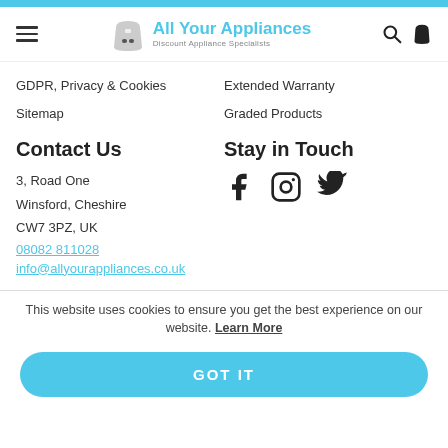All Your Appliances — Discount Appliance Specialists
GDPR, Privacy & Cookies
Sitemap
Extended Warranty
Graded Products
Contact Us
3, Road One
Winsford, Cheshire
CW7 3PZ, UK
08082 811028
info@allyourappliances.co.uk
Stay in Touch
[Figure (other): Social media icons: Facebook, Instagram, Twitter]
This website uses cookies to ensure you get the best experience on our website. Learn More
GOT IT